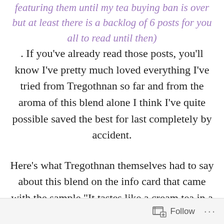featuring them until my tea buying ban is over but at least there is a backlog of 6 posts for you all to read until then) . If you've already read those posts, you'll know I've pretty much loved everything I've tried from Tregothnan so far and from the aroma of this blend alone I think I've quite possible saved the best for last completely by accident.
Here's what Tregothnan themselves had to say about this blend on the info card that came with the sample "It tastes like a cream tea in a cup! Using Saffron from a brilliant British grower, blended with lemon rind and black tea leaves." If you've read any of my Let's Talk Tearooms posts
Follow